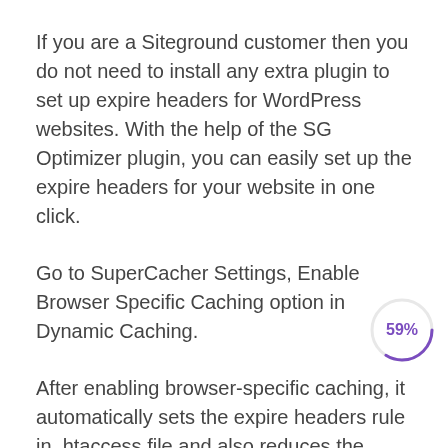If you are a Siteground customer then you do not need to install any extra plugin to set up expire headers for WordPress websites. With the help of the SG Optimizer plugin, you can easily set up the expire headers for your website in one click.
Go to SuperCacher Settings, Enable Browser Specific Caching option in Dynamic Caching.
After enabling browser-specific caching, it automatically sets the expire headers rule in .htaccess file and also reduces the HTTP requests.
[Figure (other): A circular progress indicator showing 59% in purple/violet color, partially drawn arc on a white background.]